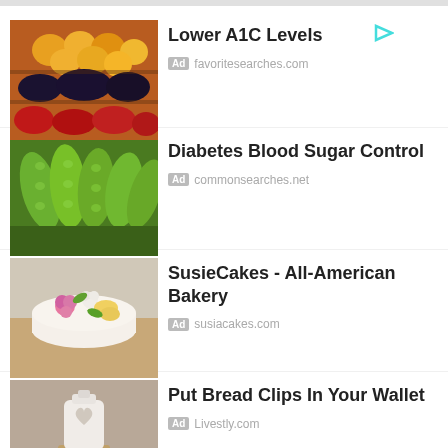Lower A1C Levels
Diabetes Blood Sugar Control
SusieCakes - All-American Bakery
Put Bread Clips In Your Wallet
Kelly Ripa quit